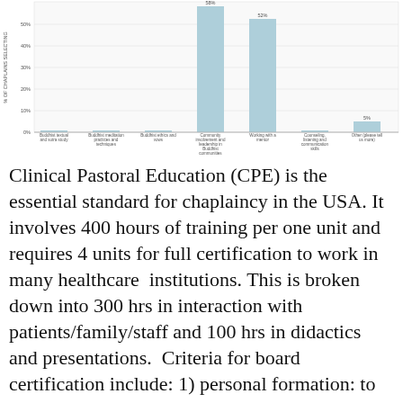[Figure (bar-chart): ]
Clinical Pastoral Education (CPE) is the essential standard for chaplaincy in the USA. It involves 400 hours of training per one unit and requires 4 units for full certification to work in many healthcare institutions. This is broken down into 300 hrs in interaction with patients/family/staff and 100 hrs in didactics and presentations. Criteria for board certification include: 1) personal formation: to be grounded in one's own religious/spiritual tradition; 2) developing professional clinical skills, such as deep listening, being with suffering, proper